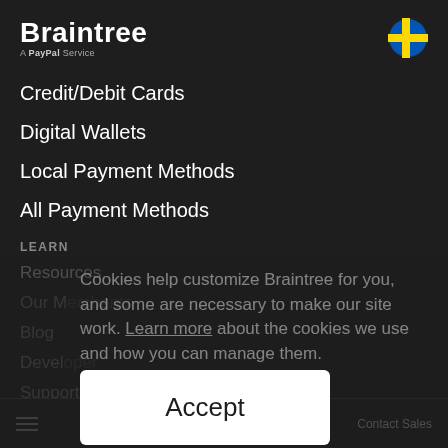Braintree — A PayPal Service
Credit/Debit Cards
Digital Wallets
Local Payment Methods
All Payment Methods
LEARN
Resources
Our [something]
Blog
Developer [something]
Support Articles
Cookies help customize Braintree for you, and some are necessary to make our site work. Learn more about the cookies we use and how you can manage them.
Accept
Payments | Our Merchants | Contact Sales